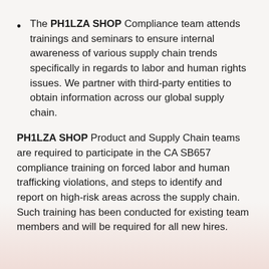The PH1LZA SHOP Compliance team attends trainings and seminars to ensure internal awareness of various supply chain trends specifically in regards to labor and human rights issues. We partner with third-party entities to obtain information across our global supply chain.
PH1LZA SHOP Product and Supply Chain teams are required to participate in the CA SB657 compliance training on forced labor and human trafficking violations, and steps to identify and report on high-risk areas across the supply chain. Such training has been conducted for existing team members and will be required for all new hires.